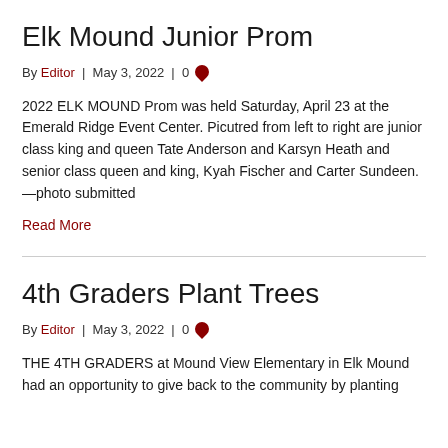Elk Mound Junior Prom
By Editor | May 3, 2022 | 0
2022 ELK MOUND Prom was held Saturday, April 23 at the Emerald Ridge Event Center. Picutred from left to right are junior class king and queen Tate Anderson and Karsyn Heath and senior class queen and king, Kyah Fischer and Carter Sundeen. —photo submitted
Read More
4th Graders Plant Trees
By Editor | May 3, 2022 | 0
THE 4TH GRADERS at Mound View Elementary in Elk Mound had an opportunity to give back to the community by planting